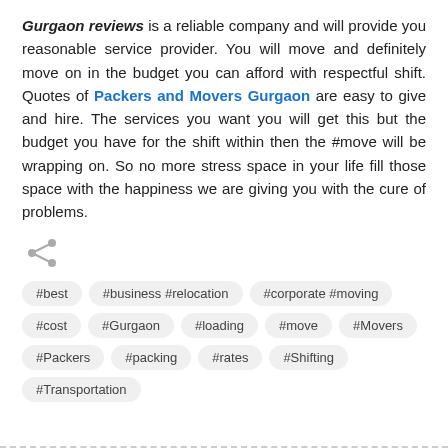Gurgaon reviews is a reliable company and will provide you reasonable service provider. You will move and definitely move on in the budget you can afford with respectful shift. Quotes of Packers and Movers Gurgaon are easy to give and hire. The services you want you will get this but the budget you have for the shift within then the #move will be wrapping on. So no more stress space in your life fill those space with the happiness we are giving you with the cure of problems.
[Figure (infographic): Share icon (less-than sign with two dots)]
#best
#business #relocation
#corporate #moving
#cost
#Gurgaon
#loading
#move
#Movers
#Packers
#packing
#rates
#Shifting
#Transportation